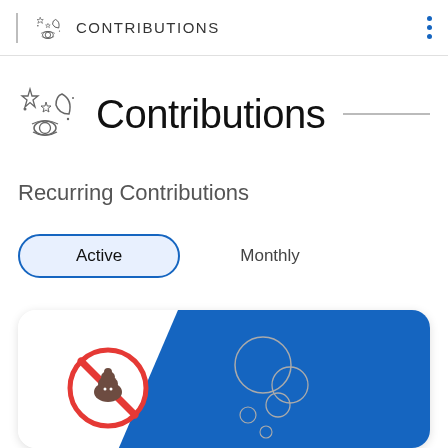CONTRIBUTIONS
Contributions
Recurring Contributions
Active | Monthly
[Figure (screenshot): A card with a blue diagonal background, a 'no poop' emoji prohibition sign icon, and decorative grey circles. Partial card cut off at bottom of page.]